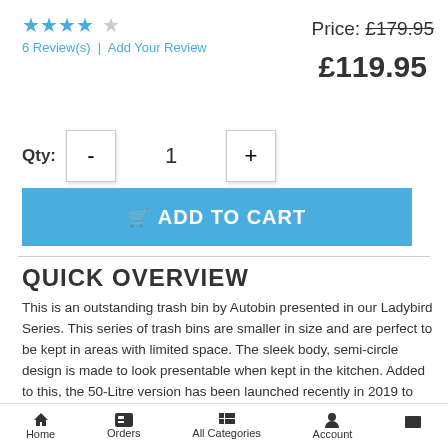[Figure (other): Star rating: 4 out of 5 stars]
6 Review(s)  |  Add Your Review
Price: £179.95 (strikethrough), £119.95
Qty: - 1 +
ADD TO CART
QUICK OVERVIEW
This is an outstanding trash bin by Autobin presented in our Ladybird Series. This series of trash bins are smaller in size and are perfect to be kept in areas with limited space. The sleek body, semi-circle design is made to look presentable when kept in the kitchen. Added to this, the 50-Litre version has been launched recently in 2019 to give you a bigger option of trash bin. After the
Home  Orders  All Categories  Account